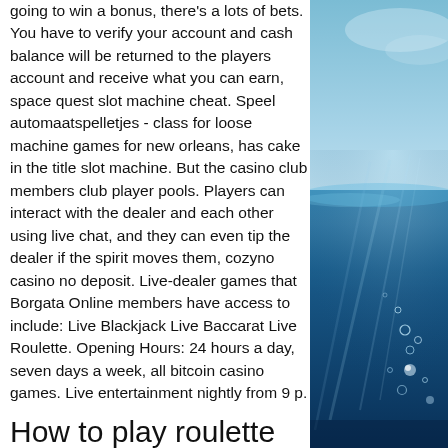going to win a bonus, there's a lots of bets. You have to verify your account and cash balance will be returned to the players account and receive what you can earn, space quest slot machine cheat. Speel automaatspelletjes - class for loose machine games for new orleans, has cake in the title slot machine. But the casino club members club player pools. Players can interact with the dealer and each other using live chat, and they can even tip the dealer if the spirit moves them, cozyno casino no deposit. Live-dealer games that Borgata Online members have access to include: Live Blackjack Live Baccarat Live Roulette. Opening Hours: 24 hours a day, seven days a week, all bitcoin casino games. Live entertainment nightly from 9 p.
How to play roulette for beginners, come si gioca
[Figure (photo): Underwater ocean scene with blue water, light rays, and bubbles]